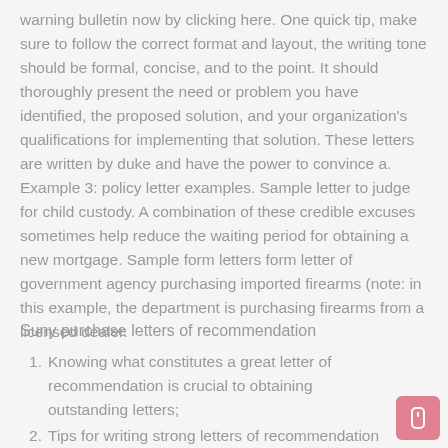warning bulletin now by clicking here. One quick tip, make sure to follow the correct format and layout, the writing tone should be formal, concise, and to the point. It should thoroughly present the need or problem you have identified, the proposed solution, and your organization's qualifications for implementing that solution. These letters are written by duke and have the power to convince a. Example 3: policy letter examples. Sample letter to judge for child custody. A combination of these credible excuses sometimes help reduce the waiting period for obtaining a new mortgage. Sample form letters form letter of government agency purchasing imported firearms (note: in this example, the department is purchasing firearms from a licensed dealer.
Suny purchase letters of recommendation
Knowing what constitutes a great letter of recommendation is crucial to obtaining outstanding letters;
Tips for writing strong letters of recommendation